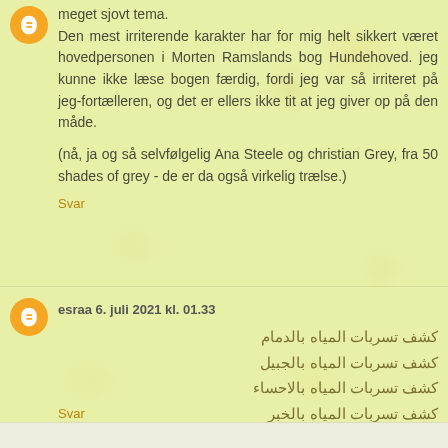meget sjovt tema.
Den mest irriterende karakter har for mig helt sikkert været hovedpersonen i Morten Ramslands bog Hundehoved. jeg kunne ikke læse bogen færdig, fordi jeg var så irriteret på jeg-fortælleren, og det er ellers ikke tit at jeg giver op på den måde.

(nå, ja og så selvfølgelig Ana Steele og christian Grey, fra 50 shades of grey - de er da også virkelig trælse.)
Svar
esraa 6. juli 2021 kl. 01.33
كشف تسربات المياه بالدمام
كشف تسربات المياه بالجبيل
كشف تسربات المياه بالاحساء
كشف تسربات المياه بالخبر
كشف تسربات المياه بالقطيف
Svar